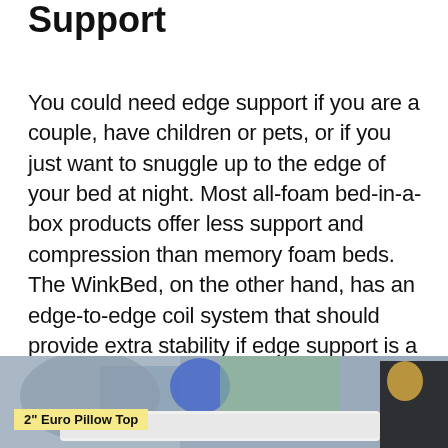Support
You could need edge support if you are a couple, have children or pets, or if you just want to snuggle up to the edge of your bed at night. Most all-foam bed-in-a-box products offer less support and compression than memory foam beds. The WinkBed, on the other hand, has an edge-to-edge coil system that should provide extra stability if edge support is a major concern for you.
[Figure (photo): Photo of a bed with a label reading '2" Euro Pillow Top']